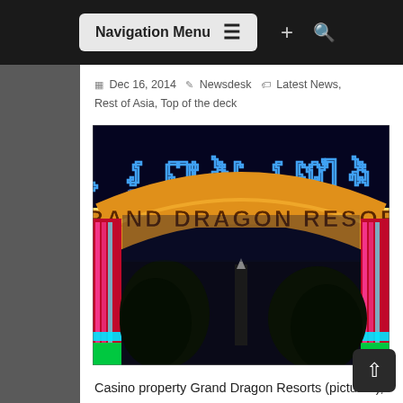Navigation Menu
Dec 16, 2014  Newsdesk  Latest News, Rest of Asia, Top of the deck
[Figure (photo): Nighttime photo of the Grand Dragon Resort gateway arch sign illuminated with neon lights in blue Khmer script and orange/yellow letters spelling GRAND DRAGON RESORT, with pink and colorful light strips on the arch columns and trees in the background.]
Casino property Grand Dragon Resorts (pictured), located in Cambodia, has partnered with live dealer gaming system provider Ezugi to offer proxy betting. The agreement will see Ezugi using its casino streaming technology to broadcast live table action direct from the casino floor, including